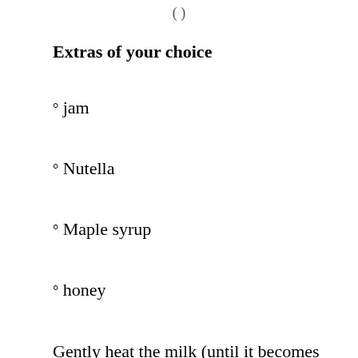(…)
Extras of your choice
° jam
° Nutella
° Maple syrup
° honey
Gently heat the milk (until it becomes lukewarm) and dilute the yeast in it with a little sugar. In a bowl, mix the flour, melted butter,